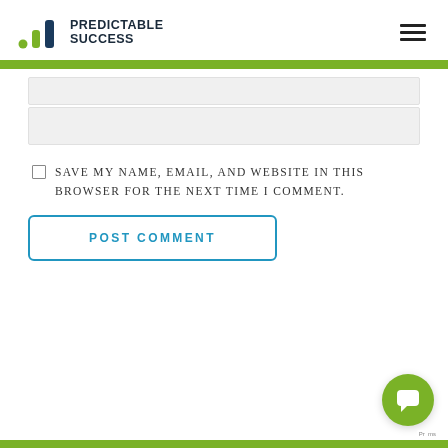[Figure (logo): Predictable Success logo with green bar chart icon and bold dark text]
SAVE MY NAME, EMAIL, AND WEBSITE IN THIS BROWSER FOR THE NEXT TIME I COMMENT.
POST COMMENT